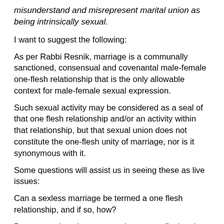misunderstand and misrepresent marital union as being intrinsically sexual.
I want to suggest the following:
As per Rabbi Resnik, marriage is a communally sanctioned, consensual and covenantal male-female one-flesh relationship that is the only allowable context for male-female sexual expression.
Such sexual activity may be considered as a seal of that one flesh relationship and/or an activity within that relationship, but that sexual union does not constitute the one-flesh unity of marriage, nor is it synonymous with it.
Some questions will assist us in seeing these as live issues:
Can a sexless marriage be termed a one flesh relationship, and if so, how?
Does a marriage become any less a one-flesh union when sex disappears, is not present, or for some reason, such as health, is no longer possible?
If the sex in a marriage is hot, is communally sanctioned, and was entered into consensually, but there is a lack of unity of lives psychologically, emotionally, and spiritually